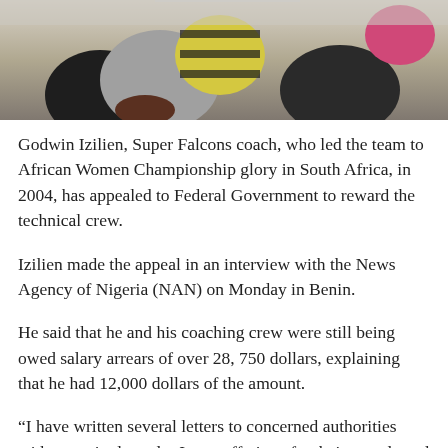[Figure (photo): Cropped photo showing people in colorful clothing, partially visible from the waist/torso area. One person wears a yellow and black striped shirt, another in grey, and another in dark/black.]
Godwin Izilien, Super Falcons coach, who led the team to African Women Championship glory in South Africa, in 2004, has appealed to Federal Government to reward the technical crew.
Izilien made the appeal in an interview with the News Agency of Nigeria (NAN) on Monday in Benin.
He said that he and his coaching crew were still being owed salary arrears of over 28, 750 dollars, explaining that he had 12,000 dollars of the amount.
“I have written several letters to concerned authorities without a single reply; I am suffering after being neglected by the football authority.